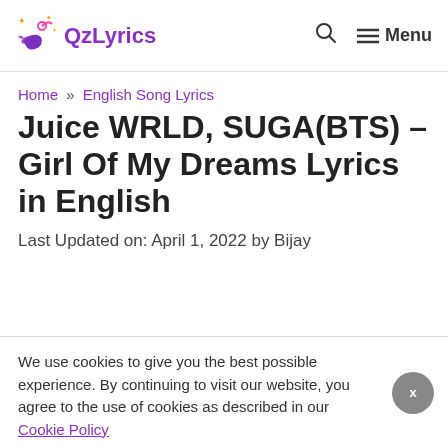QzLyrics — Menu
Home » English Song Lyrics
Juice WRLD, SUGA(BTS) – Girl Of My Dreams Lyrics in English
Last Updated on: April 1, 2022 by Bijay
We use cookies to give you the best possible experience. By continuing to visit our website, you agree to the use of cookies as described in our Cookie Policy